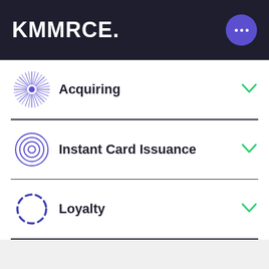KMMRCE.
Acquiring
Instant Card Issuance
Loyalty